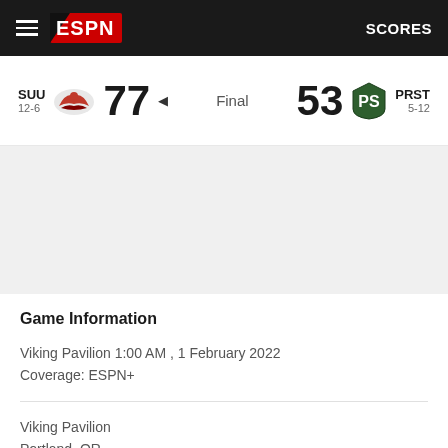ESPN SCORES
SUU 12-6  77  Final  53  PRST 5-12
[Figure (other): Gray content area placeholder]
Game Information
Viking Pavilion 1:00 AM , 1 February 2022
Coverage: ESPN+
Viking Pavilion
Portland, OR